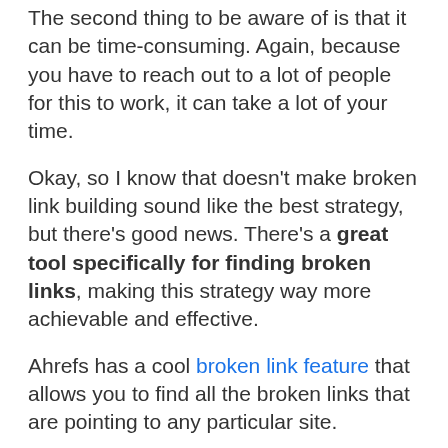The second thing to be aware of is that it can be time-consuming. Again, because you have to reach out to a lot of people for this to work, it can take a lot of your time.
Okay, so I know that doesn't make broken link building sound like the best strategy, but there's good news. There's a great tool specifically for finding broken links, making this strategy way more achievable and effective.
Ahrefs has a cool broken link feature that allows you to find all the broken links that are pointing to any particular site.